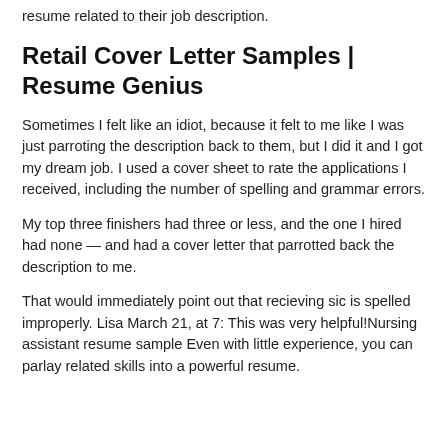resume related to their job description.
Retail Cover Letter Samples | Resume Genius
Sometimes I felt like an idiot, because it felt to me like I was just parroting the description back to them, but I did it and I got my dream job. I used a cover sheet to rate the applications I received, including the number of spelling and grammar errors.
My top three finishers had three or less, and the one I hired had none — and had a cover letter that parrotted back the description to me.
That would immediately point out that recieving sic is spelled improperly. Lisa March 21, at 7: This was very helpful!Nursing assistant resume sample Even with little experience, you can parlay related skills into a powerful resume.